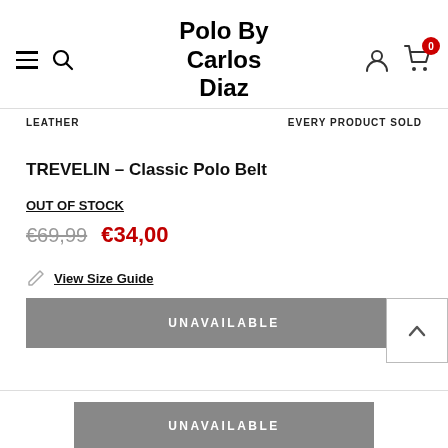Polo By Carlos Diaz
LEATHER   EVERY PRODUCT SOLD
TREVELIN – Classic Polo Belt
OUT OF STOCK
€69,99  €34,00
View Size Guide
UNAVAILABLE
UNAVAILABLE